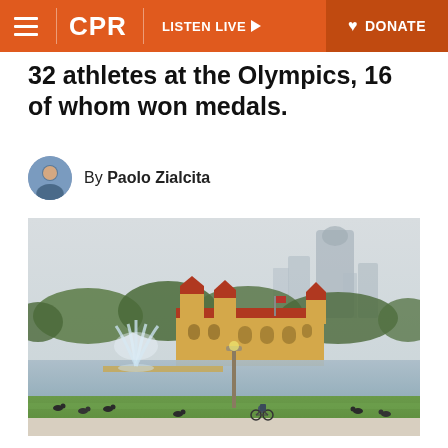CPR | LISTEN LIVE | DONATE
32 athletes at the Olympics, 16 of whom won medals.
By Paolo Zialcita
[Figure (photo): Photo of Ferril Lake in Denver's City Park, with the yellow historic Boathouse building in the background, a fountain in the lake, city skyscrapers visible through haze, green trees, grass, geese on the lawn, and a cyclist on a path in the foreground.]